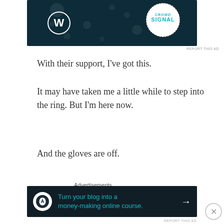[Figure (screenshot): WordPress and CrowdSignal advertisement banner on dark navy background]
REPORT THIS AD
With their support, I've got this.
It may have taken me a little while to step into the ring. But I'm here now.
And the gloves are off.
Share this:
[Figure (screenshot): Share buttons: Facebook Share 105, Email, Tweet]
Advertisements
[Figure (screenshot): Advertisement banner: Turn your blog into a money-making online course.]